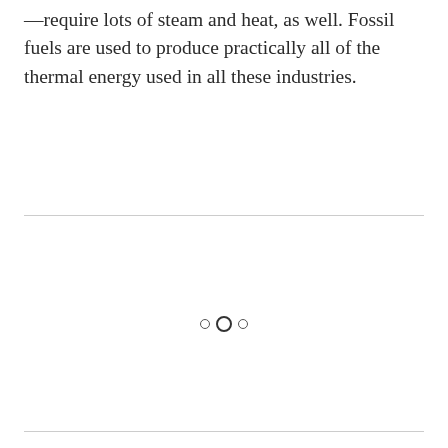—require lots of steam and heat, as well. Fossil fuels are used to produce practically all of the thermal energy used in all these industries.
[Figure (other): Three decorative circles (two small open circles and one larger open circle in the center) used as a section break or page ornament.]